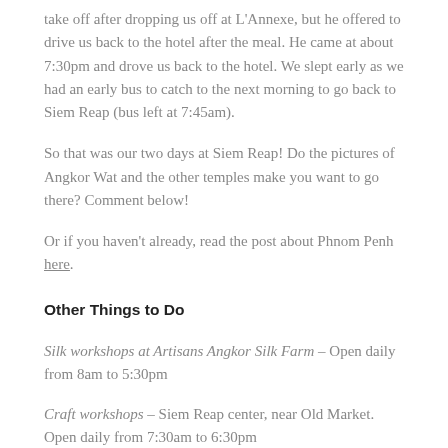take off after dropping us off at L'Annexe, but he offered to drive us back to the hotel after the meal.  He came at about 7:30pm and drove us back to the hotel.  We slept early as we had an early bus to catch to the next morning to go back to Siem Reap (bus left at 7:45am).
So that was our two days at Siem Reap!  Do the pictures of Angkor Wat and the other temples make you want to go there?  Comment below!
Or if you haven't already, read the post about Phnom Penh here.
Other Things to Do
Silk workshops at Artisans Angkor Silk Farm – Open daily from 8am to 5:30pm
Craft workshops – Siem Reap center, near Old Market.  Open daily from 7:30am to 6:30pm
Bugs Cafe – Cambodians say that insects are high in protein and a